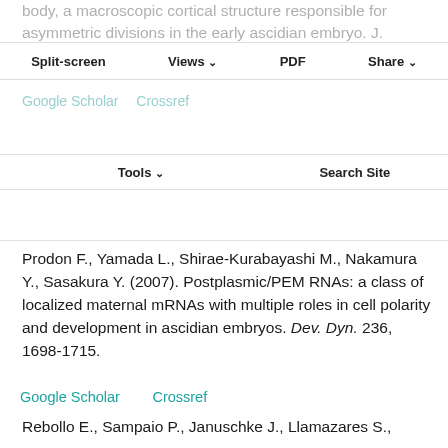body, a macroscopic cortical structure responsible for asymmetric divisions in the early ascidian embryo. J. Cell Sci. 119, 1592-1603.
Split-screen  Views  PDF  Share  Tools  Search Site
Google Scholar    Crossref
Prodon F., Yamada L., Shirae-Kurabayashi M., Nakamura Y., Sasakura Y. (2007). Postplasmic/PEM RNAs: a class of localized maternal mRNAs with multiple roles in cell polarity and development in ascidian embryos. Dev. Dyn. 236, 1698-1715.
Google Scholar    Crossref
Rebollo E., Sampaio P., Januschke J., Llamazares S., Varmark H., González C. (2007). Functionally unequal centrosomes drive spindle orientation in asymmetrically dividing Drosophila neural stem cells.
This site uses cookies. By continuing to use our website, you are agreeing to our privacy policy. Accept
Roure A., Rothbächer U., Robin F., Kalmar E., Ferone G.,